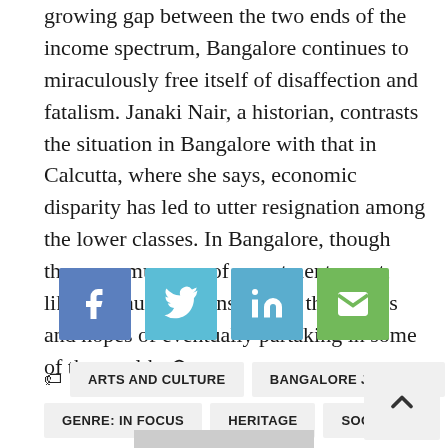growing gap between the two ends of the income spectrum, Bangalore continues to miraculously free itself of disaffection and fatalism. Janaki Nair, a historian, contrasts the situation in Bangalore with that in Calcutta, where she says, economic disparity has led to utter resignation among the lower classes. In Bangalore, though there are murmurs of resentment, most, like Madhu, dwell instead on their plans and hopes of eventually partaking in some of the wealth. ⊕
[Figure (infographic): Social sharing buttons: Facebook (blue), Twitter (light blue), LinkedIn (light blue), Email (green)]
ARTS AND CULTURE
BANGALORE JOURNAL
GENRE: IN FOCUS
HERITAGE
SOCIETY